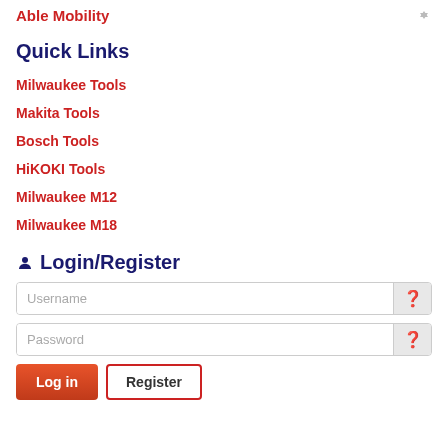Able Mobility
Quick Links
Milwaukee Tools
Makita Tools
Bosch Tools
HiKOKI Tools
Milwaukee M12
Milwaukee M18
Login/Register
Username
Password
Log in
Register